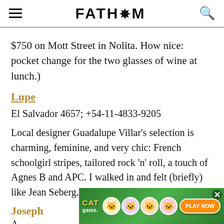FATH*M
$750 on Mott Street in Nolita. How nice: pocket change for the two glasses of wine at lunch.)
Lupe
El Salvador 4657; +54-11-4833-9205
Local designer Guadalupe Villar's selection is charming, feminine, and very chic: French schoolgirl stripes, tailored rock 'n' roll, a touch of Agnes B and APC. I walked in and felt (briefly) like Jean Seberg.
Joseph
A...
[Figure (other): Cat Game advertisement banner with cartoon cats and PLAY NOW button]